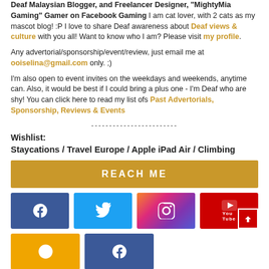Deaf Malaysian Blogger, and Freelancer Designer, "MightyMia Gaming" Gamer on Facebook Gaming I am cat lover, with 2 cats as my mascot blog! :P I love to share Deaf awareness about Deaf views & culture with you all! Want to know who I am? Please visit my profile.
Any advertorial/sponsorship/event/review, just email me at ooiselina@gmail.com only. ;)
I'm also open to event invites on the weekdays and weekends, anytime can. Also, it would be best if I could bring a plus one - I'm Deaf who are shy! You can click here to read my list ofs Past Advertorials, Sponsorship, Reviews & Events
------------------------
Wishlist:
Staycations / Travel Europe / Apple iPad Air / Climbing
REACH ME
[Figure (infographic): Social media buttons: Facebook, Twitter, Instagram, YouTube with scroll-to-top button, and a second row with two more social buttons]